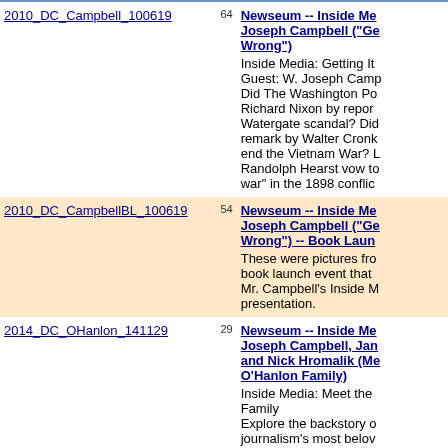| File | Count | Title/Description |
| --- | --- | --- |
| 2010_DC_Campbell_100619 | 64 | Newseum -- Inside Me... Joseph Campbell ("Ge... Wrong")
Inside Media: Getting It... Guest: W. Joseph Camp... Did The Washington Po... Richard Nixon by repor... Watergate scandal? Did... remark by Walter Cronk... end the Vietnam War?... Randolph Hearst vow t... war" in the 1898 conflic... |
| 2010_DC_CampbellBL_100619 | 54 | Newseum -- Inside Me... Joseph Campbell ("Ge... Wrong") -- Book Laun...
These were pictures fro... book launch event that... Mr. Campbell's Inside M... presentation. |
| 2014_DC_OHanlon_141129 | 29 | Newseum -- Inside Me... Joseph Campbell, Jan... and Nick Hromalik (Me... O'Hanlon Family)
Inside Media: Meet the... Family
Explore the backstory o... journalism's most belov... with journalism professo... W. Joseph Campbell ar... |